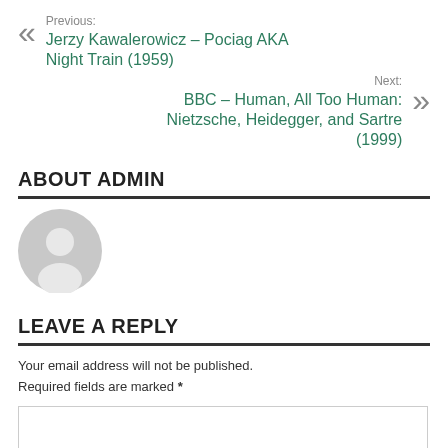Previous: Jerzy Kawalerowicz – Pociag AKA Night Train (1959)
Next: BBC – Human, All Too Human: Nietzsche, Heidegger, and Sartre (1999)
ABOUT ADMIN
[Figure (illustration): Grey circular avatar icon with a silhouette of a person, default user profile image]
LEAVE A REPLY
Your email address will not be published. Required fields are marked *